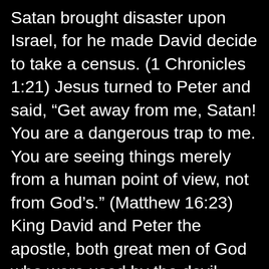Satan brought disaster upon Israel, for he made David decide to take a census. (1 Chronicles 1:21) Jesus turned to Peter and said, “Get away from me, Satan! You are a dangerous trap to me. You are seeing things merely from a human point of view, not from God’s.” (Matthew 16:23) King David and Peter the apostle, both great men of God who were used by the devil– unknowingly. There is one group of people who always knew who Jesus was– demons. We cannot fight the devil on our own, we are powerless, but he, and they, must respond to the name and blood of Jesus. There are no deals to be made with the devil, and there is no power, outside of the name and blood of Jesus that can defeat the devil! Joshua and the Israelites faced the same three enemies that